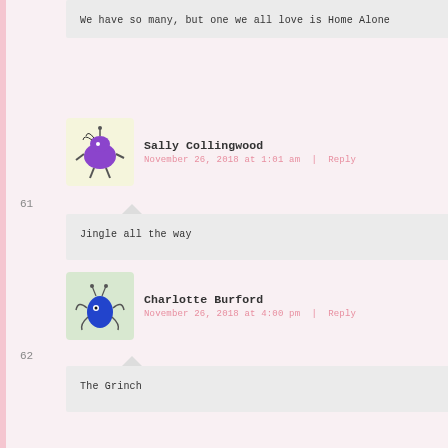We have so many, but one we all love is Home Alone
Sally Collingwood
November 26, 2018 at 1:01 am | Reply
61
Jingle all the way
Charlotte Burford
November 26, 2018 at 4:00 pm | Reply
62
The Grinch
Stephanie
November 26, 2018 at 10 pm | Reply
63